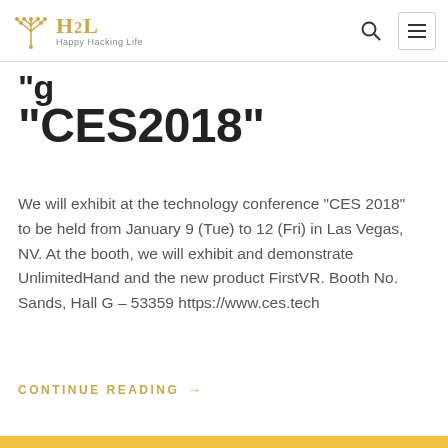H2L Happy Hacking Life
“CES2018”
We will exhibit at the technology conference “CES 2018” to be held from January 9 (Tue) to 12 (Fri) in Las Vegas, NV. At the booth, we will exhibit and demonstrate UnlimitedHand and the new product FirstVR. Booth No. Sands, Hall G – 53359 https://www.ces.tech
CONTINUE READING →